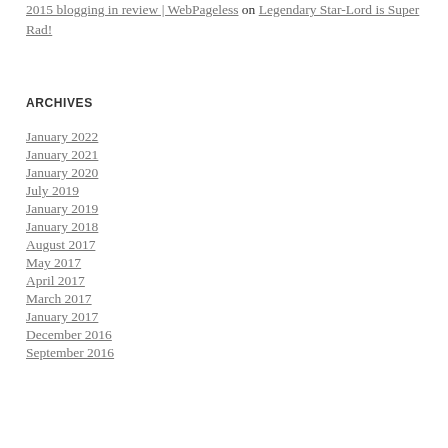2015 blogging in review | WebPageless on Legendary Star-Lord is Super Rad!
ARCHIVES
January 2022
January 2021
January 2020
July 2019
January 2019
January 2018
August 2017
May 2017
April 2017
March 2017
January 2017
December 2016
September 2016